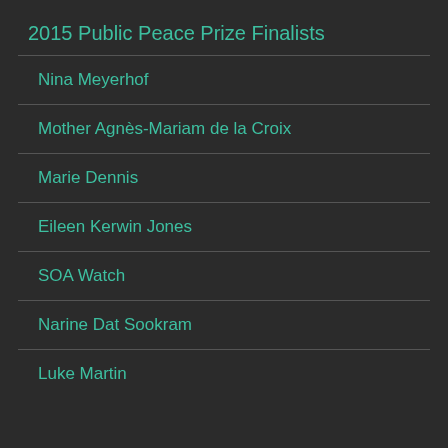2015 Public Peace Prize Finalists
Nina Meyerhof
Mother Agnès-Mariam de la Croix
Marie Dennis
Eileen Kerwin Jones
SOA Watch
Narine Dat Sookram
Luke Martin